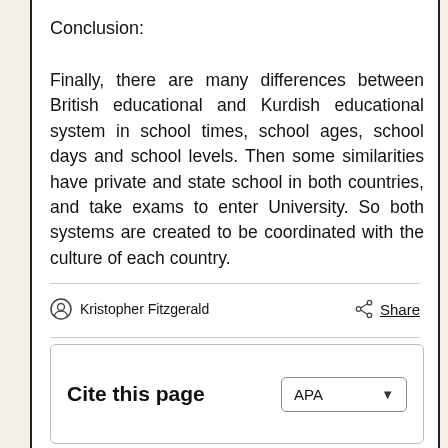Conclusion:
Finally, there are many differences between British educational and Kurdish educational system in school times, school ages, school days and school levels. Then some similarities have private and state school in both countries, and take exams to enter University. So both systems are created to be coordinated with the culture of each country.
Kristopher Fitzgerald
Share
Cite this page